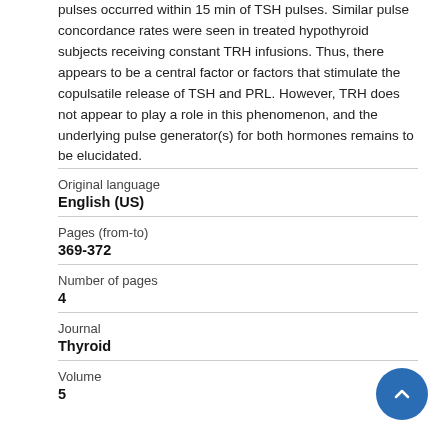pulses occurred within 15 min of TSH pulses. Similar pulse concordance rates were seen in treated hypothyroid subjects receiving constant TRH infusions. Thus, there appears to be a central factor or factors that stimulate the copulsatile release of TSH and PRL. However, TRH does not appear to play a role in this phenomenon, and the underlying pulse generator(s) for both hormones remains to be elucidated.
| Original language | English (US) |
| Pages (from-to) | 369-372 |
| Number of pages | 4 |
| Journal | Thyroid |
| Volume | 5 |